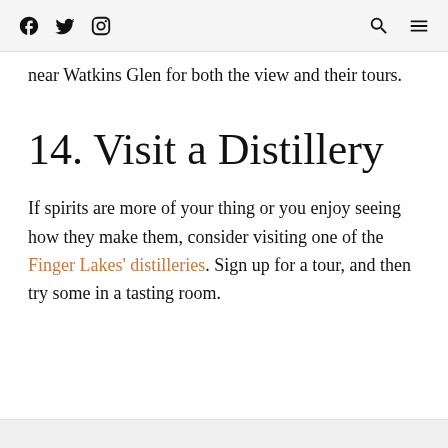[Facebook icon] [Twitter icon] [Instagram icon] [Search icon] [Menu icon]
near Watkins Glen for both the view and their tours.
14. Visit a Distillery
If spirits are more of your thing or you enjoy seeing how they make them, consider visiting one of the Finger Lakes' distilleries. Sign up for a tour, and then try some in a tasting room.